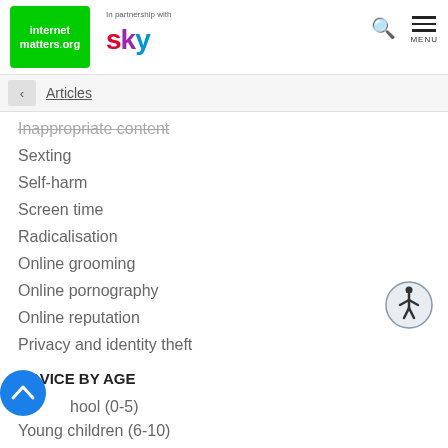internet matters.org | In partnership with sky | Search | Menu
Articles
Inappropriate content
Sexting
Self-harm
Screen time
Radicalisation
Online grooming
Online pornography
Online reputation
Privacy and identity theft
ADVICE BY AGE
Pre-school (0-5)
Young children (6-10)
[Figure (illustration): Wheelchair accessibility icon in a circle]
[Figure (illustration): Blue circle scroll-to-top button with upward chevron]